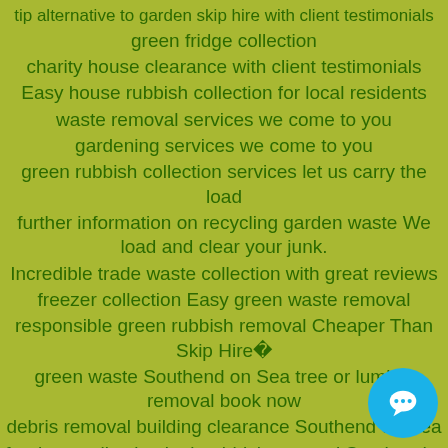tip alternative to garden skip hire with client testimonials
green fridge collection
charity house clearance with client testimonials
Easy house rubbish collection for local residents
waste removal services we come to you
gardening services we come to you
green rubbish collection services let us carry the load
further information on recycling garden waste We load and clear your junk.
Incredible trade waste collection with great reviews
freezer collection Easy green waste removal
responsible green rubbish removal Cheaper Than Skip Hire�
green waste Southend on Sea tree or lumber removal book now
debris removal building clearance Southend on Sea
furniture collection junk rubbish removal Southend o...
recommended collecting waste low cost removal of rub...